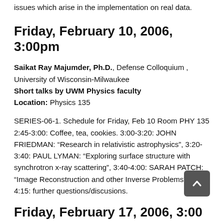issues which arise in the implementation on real data.
Friday, February 10, 2006, 3:00pm
Saikat Ray Majumder, Ph.D., Defense Colloquium , University of Wisconsin-Milwaukee
Short talks by UWM Physics faculty
Location: Physics 135
SERIES-06-1. Schedule for Friday, Feb 10 Room PHY 135 2:45-3:00: Coffee, tea, cookies. 3:00-3:20: JOHN FRIEDMAN: “Research in relativistic astrophysics”, 3:20-3:40: PAUL LYMAN: “Exploring surface structure with synchrotron x-ray scattering”, 3:40-4:00: SARAH PATCH: “Image Reconstruction and other Inverse Problems”. 4:00-4:15: further questions/discusions.
Friday, February 17, 2006, 3:00